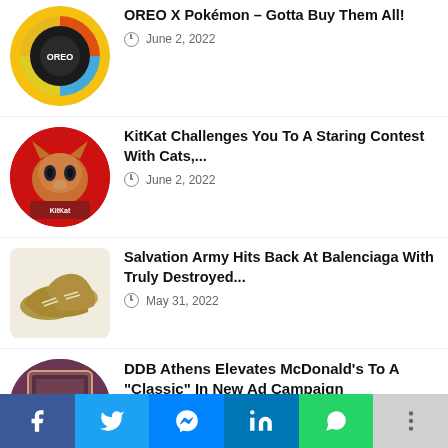[Figure (photo): Circular thumbnail of OREO X Pokemon branded cookie package with colorful Pokemon characters]
OREO X Pokémon – Gotta Buy Them All!
June 2, 2022
[Figure (photo): Circular thumbnail of KitKat promotion featuring a fluffy orange cat on red background]
KitKat Challenges You To A Staring Contest With Cats,...
June 2, 2022
[Figure (photo): Image of old worn-out golden sneakers/shoes on white background]
Salvation Army Hits Back At Balenciaga With Truly Destroyed...
May 31, 2022
[Figure (photo): Circular thumbnail showing a framed McDonald's related image with dark purple/maroon background]
DDB Athens Elevates McDonald's To A "Classic" In New Ad Campaign